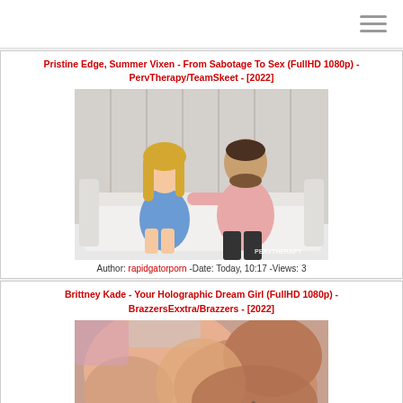[Figure (other): Hamburger/menu icon in top-right corner]
Pristine Edge, Summer Vixen - From Sabotage To Sex (FullHD 1080p) - PervTherapy/TeamSkeet - [2022]
[Figure (photo): Thumbnail image of two people sitting on a white couch; woman in blue dress, man in pink shirt. PERVTHERAPY watermark in bottom-right.]
Author: rapidgatorporn -Date: Today, 10:17 -Views: 3
Brittney Kade - Your Holographic Dream Girl (FullHD 1080p) - BrazzersExxtra/Brazzers - [2022]
[Figure (photo): Thumbnail image, adult content, partially visible.]